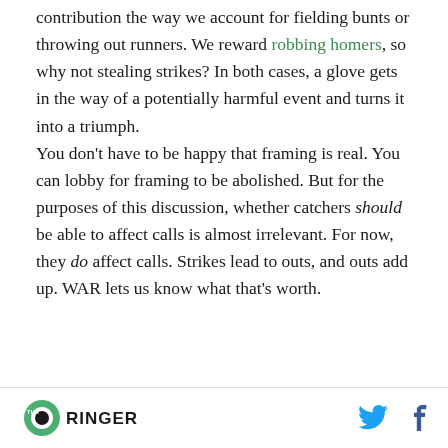contribution the way we account for fielding bunts or throwing out runners. We reward robbing homers, so why not stealing strikes? In both cases, a glove gets in the way of a potentially harmful event and turns it into a triumph.

You don't have to be happy that framing is real. You can lobby for framing to be abolished. But for the purposes of this discussion, whether catchers should be able to affect calls is almost irrelevant. For now, they do affect calls. Strikes lead to outs, and outs add up. WAR lets us know what that's worth.
THE RINGER